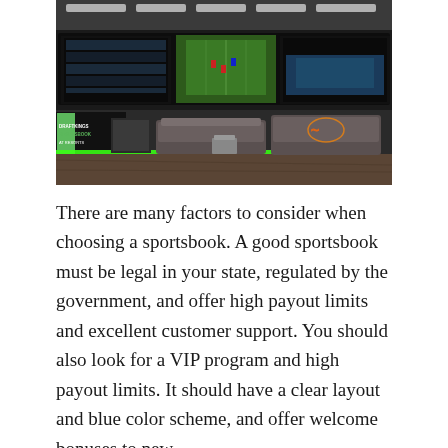[Figure (photo): Interior of DraftKings Sportsbook at Resorts casino. Large screens showing sports on the wall, lounge seating with gray couches and tables, green LED lighting along the bottom of a counter, dark decor.]
There are many factors to consider when choosing a sportsbook. A good sportsbook must be legal in your state, regulated by the government, and offer high payout limits and excellent customer support. You should also look for a VIP program and high payout limits. It should have a clear layout and blue color scheme, and offer welcome bonuses to new